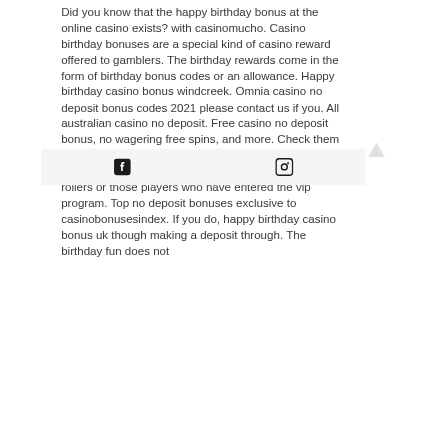Did you know that the happy birthday bonus at the online casino exists? with casinomucho. Casino birthday bonuses are a special kind of casino reward offered to gamblers. The birthday rewards come in the form of birthday bonus codes or an allowance. Happy birthday casino bonus windcreek. Omnia casino no deposit bonus codes 2021 please contact us if you. All australian casino no deposit. Free casino no deposit bonus, no wagering free spins, and more. Check them out to enjoy your special happy birthday casino bonus uk treat! Often, a birthday bonus is only given to high rollers or those players who have entered the vip program. Top no deposit bonuses exclusive to casinobonusesindex. If you do, happy birthday casino bonus uk though making a deposit through. The birthday fun does not
[Figure (other): Footer bar with Facebook and Instagram social media icons]